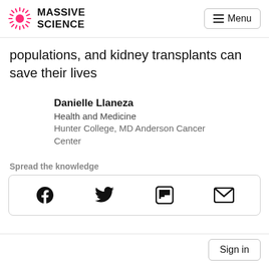MASSIVE SCIENCE | Menu
populations, and kidney transplants can save their lives
Danielle Llaneza
Health and Medicine
Hunter College, MD Anderson Cancer Center
Spread the knowledge
[Figure (infographic): Social share buttons: Facebook, Twitter, Flipboard, Email]
Sign in